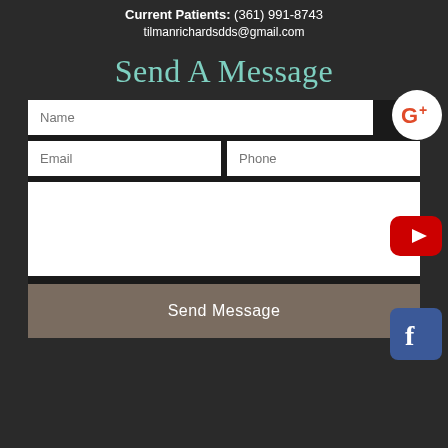Current Patients: (361) 991-8743
tilmanrichardsdds@gmail.com
Send A Message
[Figure (screenshot): Contact form with Name, Email, Phone fields and a message textarea, along with Google+, YouTube, and Facebook social media icons on the right side, and a Send Message button at the bottom.]
Send Message